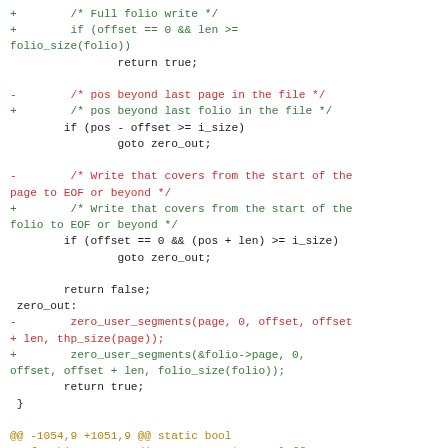diff code block showing git diff with green additions and red deletions in C kernel code